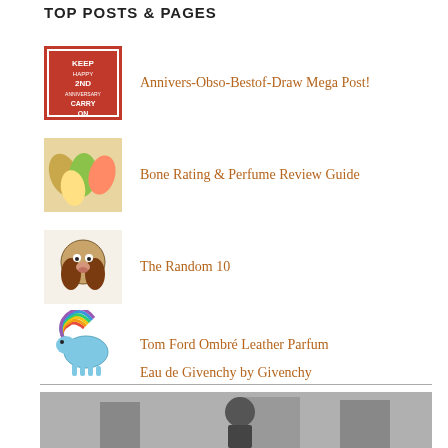TOP POSTS & PAGES
Annivers-Obso-Bestof-Draw Mega Post!
Bone Rating & Perfume Review Guide
The Random 10
Tom Ford Ombré Leather Parfum
Eau de Givenchy by Givenchy
[Figure (photo): Black and white photograph of a person, partially visible at bottom of page]